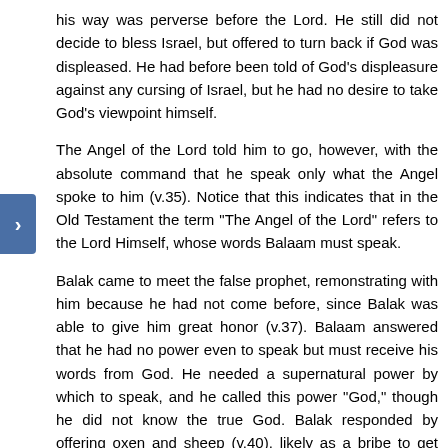his way was perverse before the Lord. He still did not decide to bless Israel, but offered to turn back if God was displeased. He had before been told of God's displeasure against any cursing of Israel, but he had no desire to take God's viewpoint himself.
The Angel of the Lord told him to go, however, with the absolute command that he speak only what the Angel spoke to him (v.35). Notice that this indicates that in the Old Testament the term "The Angel of the Lord" refers to the Lord Himself, whose words Balaam must speak.
Balak came to meet the false prophet, remonstrating with him because he had not come before, since Balak was able to give him great honor (v.37). Balaam answered that he had no power even to speak but must receive his words from God. He needed a supernatural power by which to speak, and he called this power "God," though he did not know the true God. Balak responded by offering oxen and sheep (v.40), likely as a bribe to get Balaam's god on his side.
BALAAM'S FIRST PROPHECY